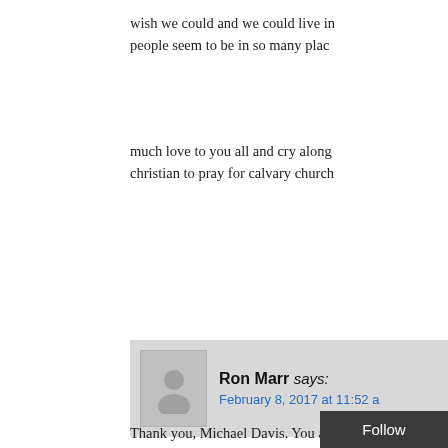wish we could and we could live in people seem to be in so many plac
much love to you all and cry along christian to pray for calvary church
Ron Marr says:
February 8, 2017 at 11:52 a
Thank you, Michael Davis. You are grows the Rumble of consciousnes Spirit, joy and inspiration for the lov you…. together we form the human Today, Rhode Island is suppose to even thou they are spraying. Some remember? Anyway, tomorrow, we Sounds NORMAL to me:).  But, to send in humanitaria ap